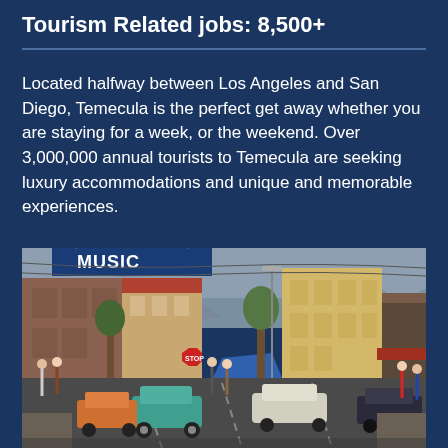Tourism Related jobs: 8,500+
Located halfway between Los Angeles and San Diego, Temecula is the perfect get away whether you are staying for a week, or the weekend. Over 3,000,000 annual tourists to Temecula are seeking luxury accommodations and unique and memorable experiences.
[Figure (photo): Street scene of Old Town Temecula with classic cars, pedestrians, shops, and a MUSIC sign visible overhead. Buildings include historic storefronts, trees, and mountains in the background.]